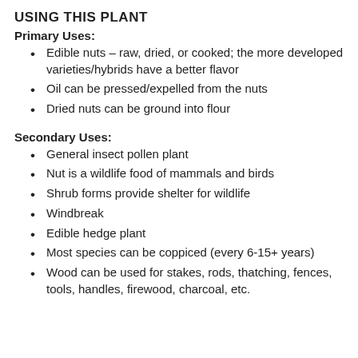USING THIS PLANT
Primary Uses:
Edible nuts – raw, dried, or cooked; the more developed varieties/hybrids have a better flavor
Oil can be pressed/expelled from the nuts
Dried nuts can be ground into flour
Secondary Uses:
General insect pollen plant
Nut is a wildlife food of mammals and birds
Shrub forms provide shelter for wildlife
Windbreak
Edible hedge plant
Most species can be coppiced (every 6-15+ years)
Wood can be used for stakes, rods, thatching, fences, tools, handles, firewood, charcoal, etc.